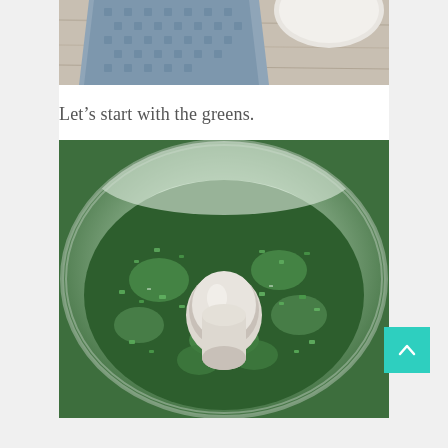[Figure (photo): Top portion of a photo showing a blue patterned fabric/napkin on a light wooden surface with a white bowl or dish partially visible]
Let’s start with the greens.
[Figure (photo): Overhead view of a food processor bowl filled with finely chopped green herbs (such as parsley or cilantro), with the white plastic center post visible, viewed from above]